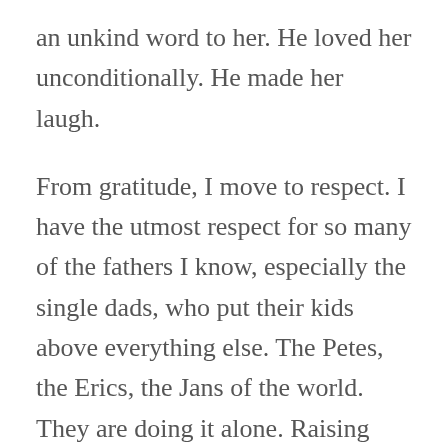an unkind word to her. He loved her unconditionally. He made her laugh.
From gratitude, I move to respect. I have the utmost respect for so many of the fathers I know, especially the single dads, who put their kids above everything else. The Petes, the Erics, the Jans of the world. They are doing it alone. Raising their kids without a partner, which I suspect, is in many ways, harder than being a single mother. I know that's a broad generalization, but I think there's to this it. Society…